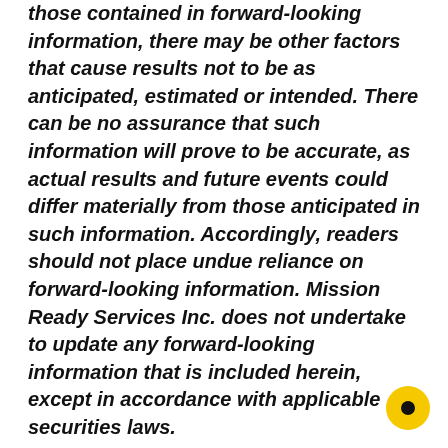those contained in forward-looking information, there may be other factors that cause results not to be as anticipated, estimated or intended. There can be no assurance that such information will prove to be accurate, as actual results and future events could differ materially from those anticipated in such information. Accordingly, readers should not place undue reliance on forward-looking information. Mission Ready Services Inc. does not undertake to update any forward-looking information that is included herein, except in accordance with applicable securities laws.